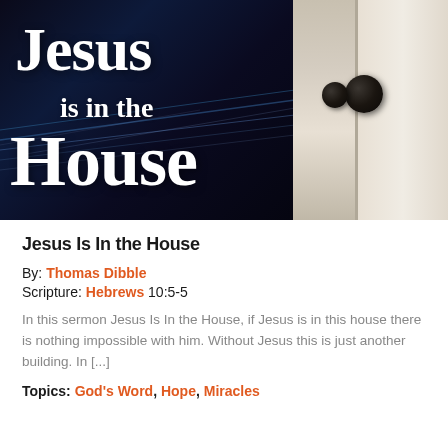[Figure (photo): Composite image: left half shows 'Jesus is in the House' white bold text on dark blue/black background with light streaks; right half shows a white door with ornate dark door knobs]
Jesus Is In the House
By: Thomas Dibble
Scripture: Hebrews 10:5-5
In this sermon Jesus Is In the House, if Jesus is in this house there is nothing impossible with him. Without Jesus this is just another building. In [...]
Topics: God's Word, Hope, Miracles